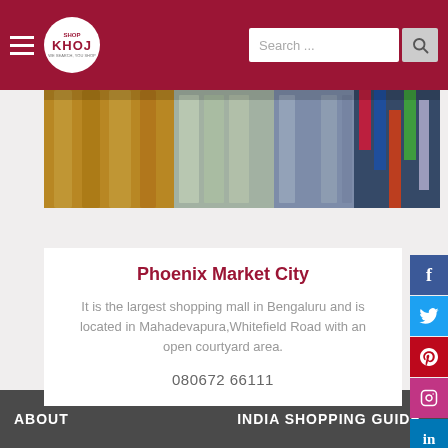Shop Khoj - Navigation bar with search
[Figure (photo): Shopping mall exterior/interior photo showing glass facade and colorful signage]
Phoenix Market City
It is the largest shopping mall in Bengaluru and is located in Mahadevapura,Whitefield Road with an open courtyard area.
080672 66111
Page 1 of 2  1  2
Disclaimer:- If there are an
ABOUT    INDIA SHOPPING GUIDE